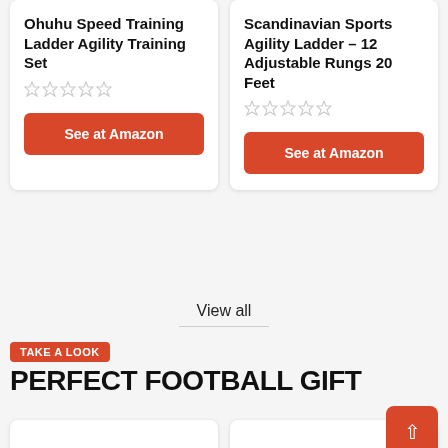Ohuhu Speed Training Ladder Agility Training Set
See at Amazon
Scandinavian Sports Agility Ladder – 12 Adjustable Rungs 20 Feet
See at Amazon
View all
TAKE A LOOK
PERFECT FOOTBALL GIFT